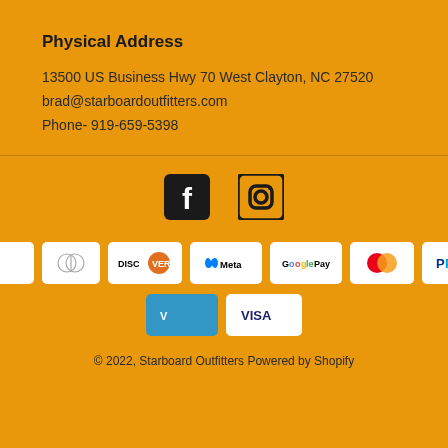Physical Address
13500 US Business Hwy 70 West Clayton, NC 27520
brad@starboardoutfitters.com
Phone- 919-659-5398
[Figure (logo): Facebook and Instagram social media icons]
[Figure (infographic): Payment method badges: AMEX, Apple Pay, Diners Club, Discover, Meta Pay, Google Pay, Mastercard, PayPal, Shop Pay, Venmo, Visa]
© 2022, Starboard Outfitters Powered by Shopify